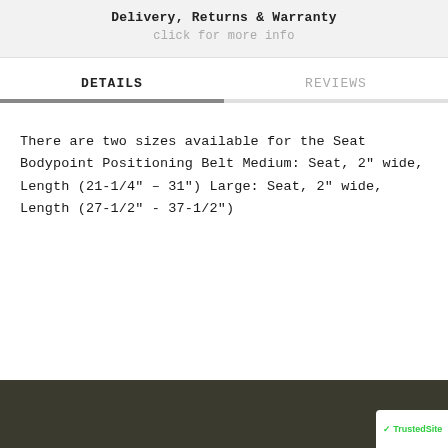Delivery, Returns & Warranty
click for more info
DETAILS
REVIEWS
There are two sizes available for the Seat Bodypoint Positioning Belt Medium: Seat, 2″ wide, Length (21-1/4″ – 31") Large: Seat, 2″ wide, Length (27-1/2" - 37-1/2")
[Figure (photo): Dark olive/brown colored bottom banner area of a product page, with a TrustedSite badge visible in the bottom right corner.]